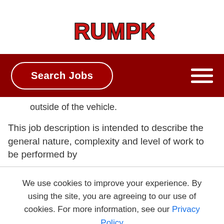[Figure (logo): Rumpke logo in red bold stylized text with black outline]
Search Jobs [navigation bar with hamburger menu]
outside of the vehicle.
This job description is intended to describe the general nature, complexity and level of work to be performed by
We use cookies to improve your experience. By using the site, you are agreeing to our use of cookies. For more information, see our Privacy Policy
Accept